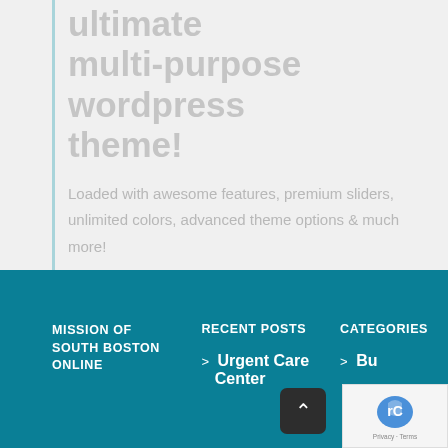ultimate multi-purpose wordpress theme!
Loaded with awesome features, premium sliders, unlimited colors, advanced theme options & much more!
MISSION OF SOUTH BOSTON ONLINE
RECENT POSTS
CATEGORIES
> Urgent Care Center
> Business